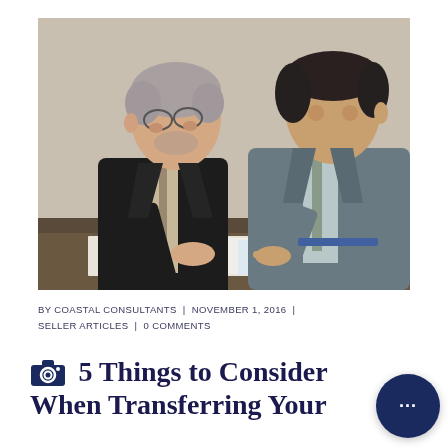[Figure (photo): Two businessmen in suits sitting at a desk reviewing documents together; older man with grey hair and glasses on the left, younger man with dark hair on the right, pointing at papers]
BY COASTAL CONSULTANTS  |  NOVEMBER 1, 2016  |  SELLER ARTICLES  |  0 COMMENTS
5 Things to Consider When Transferring Your